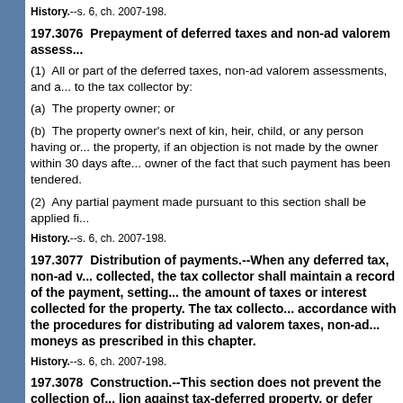History.--s. 6, ch. 2007-198.
197.3076  Prepayment of deferred taxes and non-ad valorem assess...
(1)  All or part of the deferred taxes, non-ad valorem assessments, and a... to the tax collector by:
(a)  The property owner; or
(b)  The property owner's next of kin, heir, child, or any person having or... the property, if an objection is not made by the owner within 30 days afte... owner of the fact that such payment has been tendered.
(2)  Any partial payment made pursuant to this section shall be applied fi...
History.--s. 6, ch. 2007-198.
197.3077  Distribution of payments.
--When any deferred tax, non-ad v... collected, the tax collector shall maintain a record of the payment, setting... the amount of taxes or interest collected for the property. The tax collecto... accordance with the procedures for distributing ad valorem taxes, non-ad... moneys as prescribed in this chapter.
History.--s. 6, ch. 2007-198.
197.3078  Construction.
--This section does not prevent the collection of... lion against tax-deferred property, or defer payment of special assessmo...